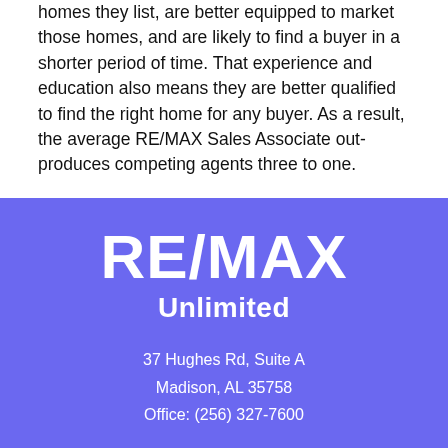homes they list, are better equipped to market those homes, and are likely to find a buyer in a shorter period of time. That experience and education also means they are better qualified to find the right home for any buyer. As a result, the average RE/MAX Sales Associate out-produces competing agents three to one.
Deciding to sell or buy a home is a big step. Make sure it's a step in the right direction by choosing the person best qualified to handle your real estate needs: a RE/MAX Sales Associate.
[Figure (logo): RE/MAX Unlimited logo on purple background with address: 37 Hughes Rd, Suite A, Madison, AL 35758, Office: (256) 327-7600]